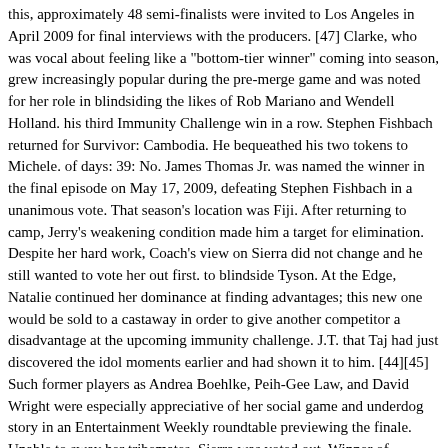this, approximately 48 semi-finalists were invited to Los Angeles in April 2009 for final interviews with the producers. [47] Clarke, who was vocal about feeling like a "bottom-tier winner" coming into season, grew increasingly popular during the pre-merge game and was noted for her role in blindsiding the likes of Rob Mariano and Wendell Holland. his third Immunity Challenge win in a row. Stephen Fishbach returned for Survivor: Cambodia. He bequeathed his two tokens to Michele. of days: 39: No. James Thomas Jr. was named the winner in the final episode on May 17, 2009, defeating Stephen Fishbach in a unanimous vote. That season's location was Fiji. After returning to camp, Jerry's weakening condition made him a target for elimination. Despite her hard work, Coach's view on Sierra did not change and he still wanted to vote her out first. to blindside Tyson. At the Edge, Natalie continued her dominance at finding advantages; this new one would be sold to a castaway in order to give another competitor a disadvantage at the upcoming immunity challenge. J.T. that Taj had just discovered the idol moments earlier and had shown it to him. [44][45] Such former players as Andrea Boehlke, Peih-Gee Law, and David Wright were especially appreciative of her social game and underdog story in an Entertainment Weekly roundtable previewing the finale. Unable to sway her tribemates, Sierra was voted out. Winner of Survivor: Tocantins J.T. 7. In a quest for protein, the Jalapao tribe broke open a termite mound to eat the termites. All four of these players would go on to compete in future seasons of the show. and Stephen talked about voting Erinn out before Coach because of what she said to Coach. This would be the last season to feature a final two until the twenty-eighth season, Survivor: Cagayan. Due to the COVID-19 pandemic, the recording finale for the sixteenth season of a must